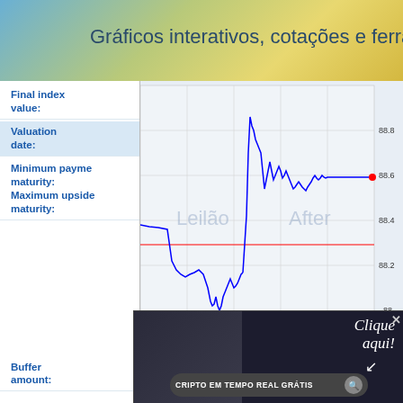Gráficos interativos, cotações e ferram
Final index value:
Valuation date:
Minimum payment maturity:
Maximum upside maturity:
[Figure (continuous-plot): Intraday financial index chart showing price movement between approximately 88 and 88.8, with x-axis time labels 0600, 0900, 1200, 1500, 1800, y-axis from 88 to 88.8. Blue line chart with a red horizontal reference line around 88.35. Labels 'Leilão' and 'After' on the chart. Current value marker at 88.6. Source: (c) www.advfn.com]
Buffer amount:
10%. As a result of the buffer amount of
Stated principal amount:
Issue price:
[Figure (photo): Advertisement overlay: dark background with person in suit, handwritten-style text 'Clique aqui!' with arrow, search bar with text 'CRIPTO EM TEMPO REAL GRÁTIS' and search icon. Close button X in top right.]